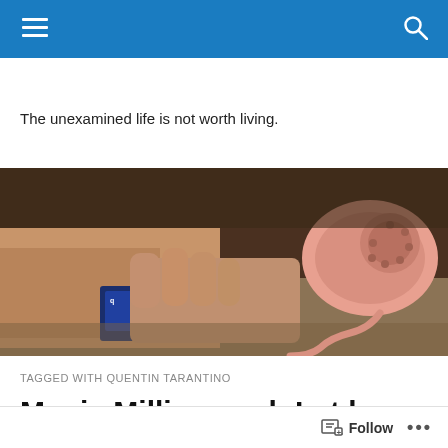Navigation bar with hamburger menu and search icon
The unexamined life is not worth living.
[Figure (photo): Close-up photo of hands near a table with a box of Q-tips/cotton swabs and a pink rotary telephone in the background]
TAGGED WITH QUENTIN TARANTINO
Movie Millisecond: Let he who is without dirty clothes...
Follow ...